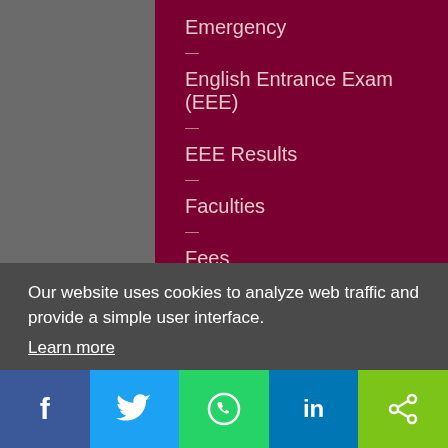Emergency
English Entrance Exam (EEE)
EEE Results
Faculties
Fees
Financial Aid
Find People
Jobs
Libraries
Payroll
Registrar
Our website uses cookies to analyze web traffic and provide a simple user interface.
Learn more
Got it!